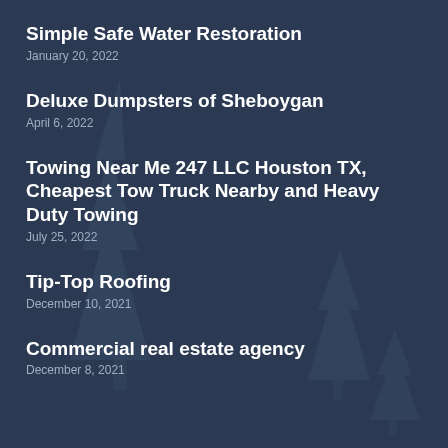Simple Safe Water Restoration
January 20, 2022
Deluxe Dumpsters of Sheboygan
April 6, 2022
Towing Near Me 247 LLC Houston TX, Cheapest Tow Truck Nearby and Heavy Duty Towing
July 25, 2022
Tip-Top Roofing
December 10, 2021
Commercial real estate agency
December 8, 2021